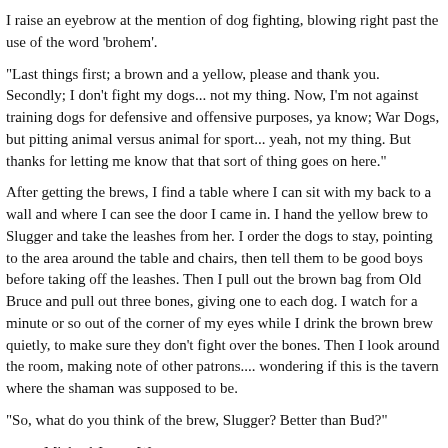I raise an eyebrow at the mention of dog fighting, blowing right past the use of the word 'brohem'.
"Last things first; a brown and a yellow, please and thank you. Secondly; I don't fight my dogs... not my thing. Now, I'm not against training dogs for defensive and offensive purposes, ya know; War Dogs, but pitting animal versus animal for sport... yeah, not my thing. But thanks for letting me know that that sort of thing goes on here."
After getting the brews, I find a table where I can sit with my back to a wall and where I can see the door I came in. I hand the yellow brew to Slugger and take the leashes from her. I order the dogs to stay, pointing to the area around the table and chairs, then tell them to be good boys before taking off the leashes. Then I pull out the brown bag from Old Bruce and pull out three bones, giving one to each dog. I watch for a minute or so out of the corner of my eyes while I drink the brown brew quietly, to make sure they don't fight over the bones. Then I look around the room, making note of other patrons.... wondering if this is the tavern where the shaman was supposed to be.
"So, what do you think of the brew, Slugger? Better than Bud?"
Michael James Watson